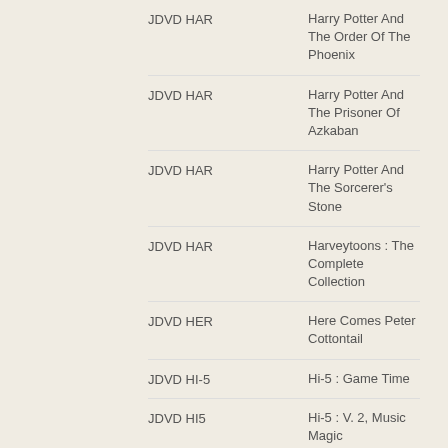JDVD HAR | Harry Potter And The Order Of The Phoenix
JDVD HAR | Harry Potter And The Prisoner Of Azkaban
JDVD HAR | Harry Potter And The Sorcerer's Stone
JDVD HAR | Harveytoons : The Complete Collection
JDVD HER | Here Comes Peter Cottontail
JDVD HI-5 | Hi-5 : Game Time
JDVD HI5 | Hi-5 : V. 2, Music Magic
JDVD HI5 | Hi-5 : Vol. 1, Color Craze
JDVD HOM | Home
JDVD HOM | Home Alone 2 : Lost In New York